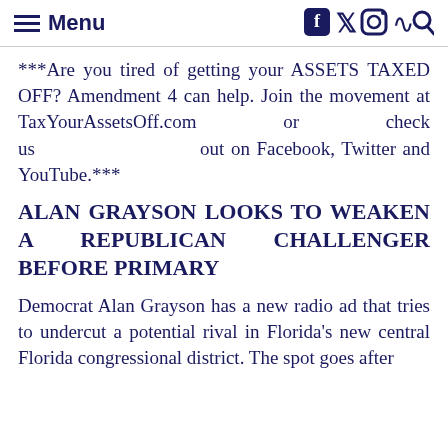Menu
***Are you tired of getting your ASSETS TAXED OFF? Amendment 4 can help. Join the movement at TaxYourAssetsOff.com or check us out on Facebook, Twitter and YouTube.***
ALAN GRAYSON LOOKS TO WEAKEN A REPUBLICAN CHALLENGER BEFORE PRIMARY
Democrat Alan Grayson has a new radio ad that tries to undercut a potential rival in Florida's new central Florida congressional district. The spot goes after